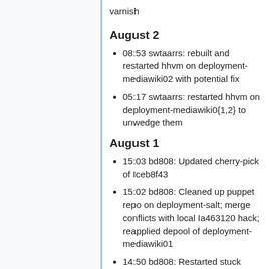varnish
August 2
08:53 swtaarrs: rebuilt and restarted hhvm on deployment-mediawiki02 with potential fix
05:17 swtaarrs: restarted hhvm on deployment-mediawiki0{1,2} to unwedge them
August 1
15:03 bd808: Updated cherry-pick of Iceb8f43
15:02 bd808: Cleaned up puppet repo on deployment-salt; merge conflicts with local Ia463120 hack; reapplied depool of deployment-mediawiki01
14:50 bd808: Restarted stuck hhvm on deployment-mediawiki02; apache